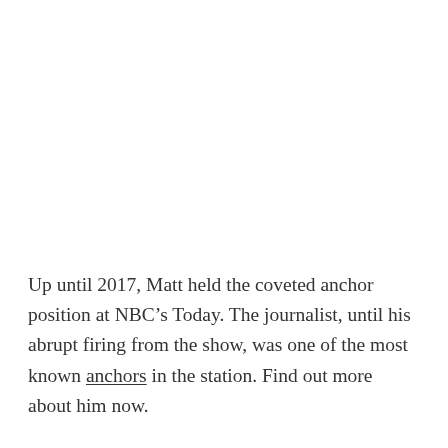Up until 2017, Matt held the coveted anchor position at NBC's Today. The journalist, until his abrupt firing from the show, was one of the most known anchors in the station. Find out more about him now.